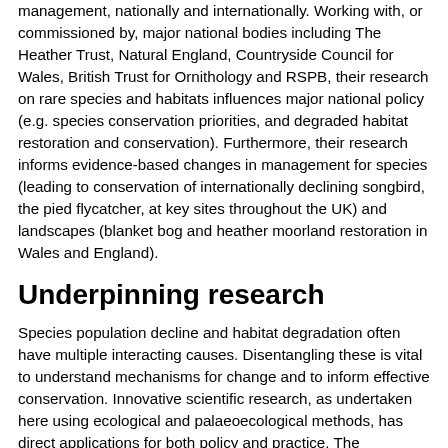management, nationally and internationally. Working with, or commissioned by, major national bodies including The Heather Trust, Natural England, Countryside Council for Wales, British Trust for Ornithology and RSPB, their research on rare species and habitats influences major national policy (e.g. species conservation priorities, and degraded habitat restoration and conservation). Furthermore, their research informs evidence-based changes in management for species (leading to conservation of internationally declining songbird, the pied flycatcher, at key sites throughout the UK) and landscapes (blanket bog and heather moorland restoration in Wales and England).
Underpinning research
Species population decline and habitat degradation often have multiple interacting causes. Disentangling these is vital to understand mechanisms for change and to inform effective conservation. Innovative scientific research, as undertaken here using ecological and palaeoecological methods, has direct applications for both policy and practice. The underpinning research undertaken by Dr Goodenough (2008-date) and Professor